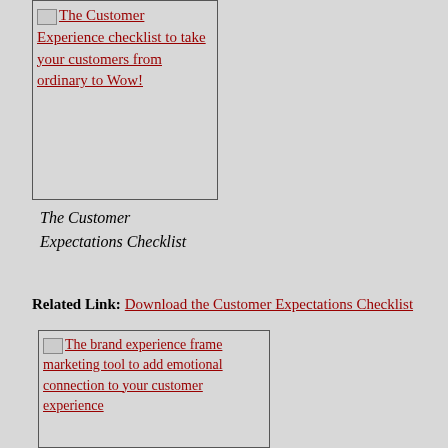[Figure (other): Image placeholder with link text: The Customer Experience checklist to take your customers from ordinary to Wow!]
The Customer Expectations Checklist
Related Link: Download the Customer Expectations Checklist
[Figure (other): Image placeholder with link text: The brand experience frame marketing tool to add emotional connection to your customer experience]